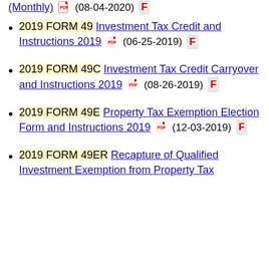(Monthly) (08-04-2020) F
2019 FORM 49 Investment Tax Credit and Instructions 2019 (06-25-2019) F
2019 FORM 49C Investment Tax Credit Carryover and Instructions 2019 (08-26-2019) F
2019 FORM 49E Property Tax Exemption Election Form and Instructions 2019 (12-03-2019) F
2019 FORM 49ER Recapture of Qualified Investment Exemption from Property Tax